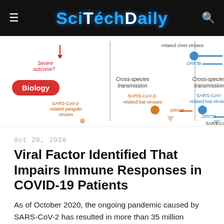SciTechDaily
[Figure (infographic): Scientific diagram showing cross-species transmission of SARS-CoV-2 related viruses. Shows bat viruses, pangolin viruses, civet viruses with ORF3b labels and transmission arrows. A red 'Biology' tag overlay appears on the left.]
Oct 20, 2020
Viral Factor Identified That Impairs Immune Responses in COVID-19 Patients
As of October 2020, the ongoing pandemic caused by SARS-CoV-2 has resulted in more than 35 million reported cases and more than 1 million deaths.